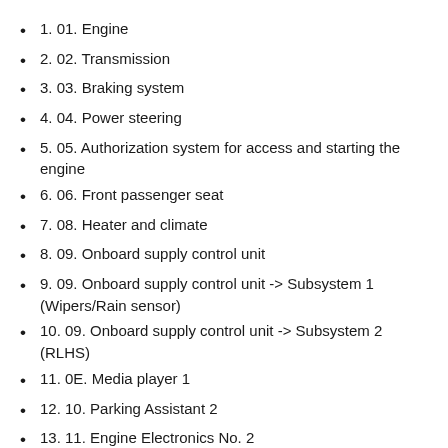1. 01. Engine
2. 02. Transmission
3. 03. Braking system
4. 04. Power steering
5. 05. Authorization system for access and starting the engine
6. 06. Front passenger seat
7. 08. Heater and climate
8. 09. Onboard supply control unit
9. 09. Onboard supply control unit -> Subsystem 1 (Wipers/Rain sensor)
10. 09. Onboard supply control unit -> Subsystem 2 (RLHS)
11. 0E. Media player 1
12. 10. Parking Assistant 2
13. 11. Engine Electronics No. 2
14. 13. Active cruise control